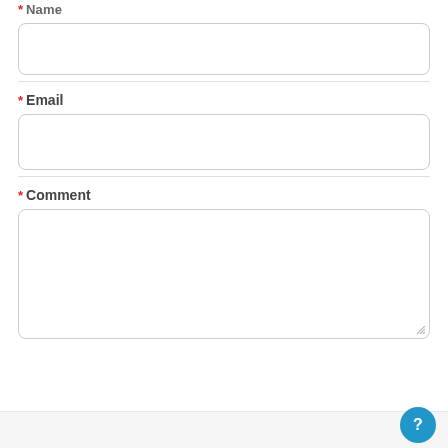* Name
[Figure (screenshot): Empty text input field for Name, with rounded border]
* Email
[Figure (screenshot): Empty text input field for Email, with rounded border]
* Comment
[Figure (screenshot): Empty textarea input field for Comment, with rounded border and resize handle]
[Figure (other): Bottom bar with gray background and blue circular help/question mark button in bottom right corner]